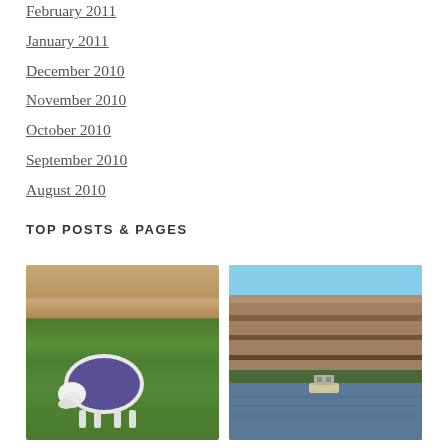February 2011
January 2011
December 2010
November 2010
October 2010
September 2010
August 2010
TOP POSTS & PAGES
[Figure (photo): A white sheep wearing a blue/purple blanket grazing on green grass in front of a wooden fence]
[Figure (photo): A river with a small boat, bordered by steep layered brown/tan cliffs under a blue sky]